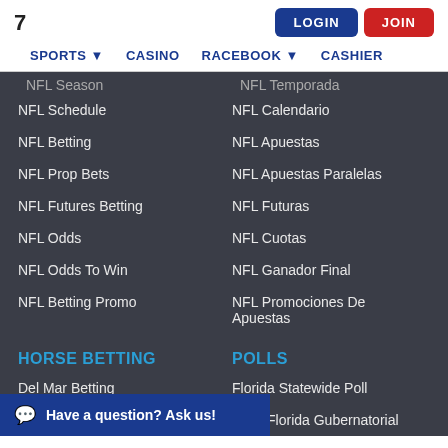7 LOGIN JOIN
SPORTS CASINO RACEBOOK CASHIER
NFL Season / NFL Temporada
NFL Schedule
NFL Calendario
NFL Betting
NFL Apuestas
NFL Prop Bets
NFL Apuestas Paralelas
NFL Futures Betting
NFL Futuras
NFL Odds
NFL Cuotas
NFL Odds To Win
NFL Ganador Final
NFL Betting Promo
NFL Promociones De Apuestas
HORSE BETTING
POLLS
Del Mar Betting
Florida Statewide Poll
2022 Florida Gubernatorial
Have a question? Ask us!